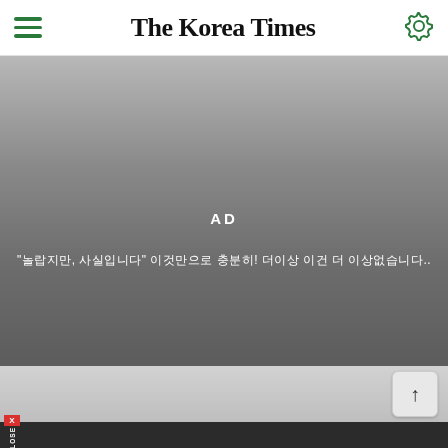The Korea Times
[Figure (other): Advertisement area with gradient gray background showing 'AD' label and Korean text below]
↑
X CLOSE